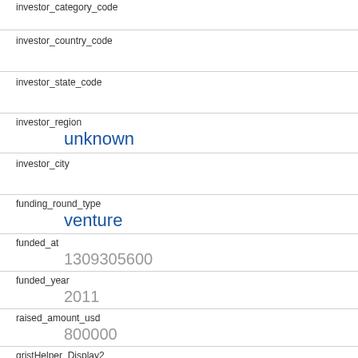investor_category_code
investor_country_code
investor_state_code
investor_region
unknown
investor_city
funding_round_type
venture
funded_at
1309305600
funded_year
2011
raised_amount_usd
800000
gristHelper_Display2
/company/gateguru
Company_category_code